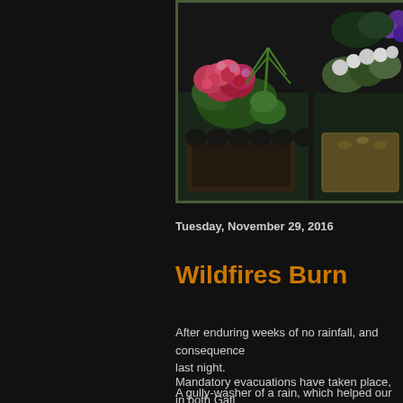[Figure (photo): Photograph of colorful flower baskets and garden plants including pink and red impatiens, white flowers, and lush green foliage against a dark wooden fence background]
Tuesday, November 29, 2016
Wildfires Burn
After enduring weeks of no rainfall, and consequence last night.
A gully-washer of a rain, which helped our state-wide drought, but also brought bad news about Gatlinburg, our beloved Smoky Mountain c
Mandatory evacuations have taken place, in both Gatl have burned and the entire Sevier county is under a w